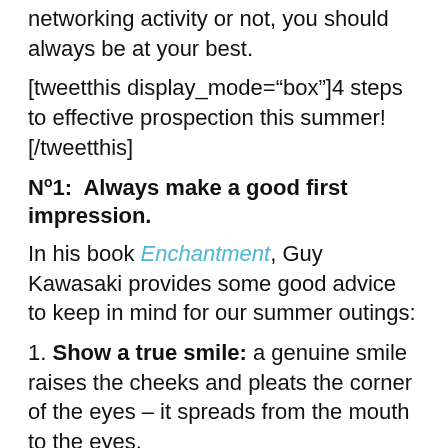networking activity or not, you should always be at your best.
[tweetthis display_mode="box"]4 steps to effective prospection this summer![/tweetthis]
N°1:  Always make a good first impression.
In his book Enchantment, Guy Kawasaki provides some good advice to keep in mind for our summer outings:
1. Show a true smile: a genuine smile raises the cheeks and pleats the corner of the eyes – it spreads from the mouth to the eyes.
2. Dress for the occasion: dress more or less like most of the other participants. If you dress up too much, you might be